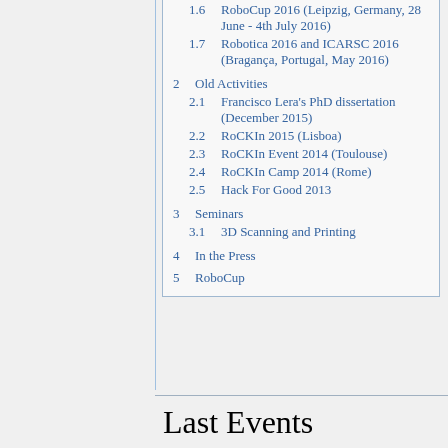1.6 RoboCup 2016 (Leipzig, Germany, 28 June - 4th July 2016)
1.7 Robotica 2016 and ICARSC 2016 (Bragança, Portugal, May 2016)
2 Old Activities
2.1 Francisco Lera's PhD dissertation (December 2015)
2.2 RoCKIn 2015 (Lisboa)
2.3 RoCKIn Event 2014 (Toulouse)
2.4 RoCKIn Camp 2014 (Rome)
2.5 Hack For Good 2013
3 Seminars
3.1 3D Scanning and Printing
4 In the Press
5 RoboCup
Last Events